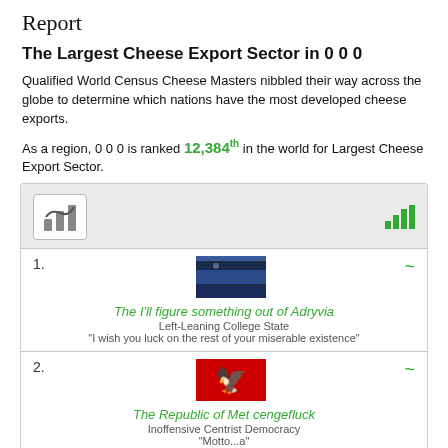Report
The Largest Cheese Export Sector in 0 0 0
Qualified World Census Cheese Masters nibbled their way across the globe to determine which nations have the most developed cheese exports.
As a region, 0 0 0 is ranked 12,384th in the world for Largest Cheese Export Sector.
[Figure (other): Rankings list box with icon header showing top nations for Largest Cheese Export Sector. Entry 1: The I'll figure something out of Adryvia, Left-Leaning College State, motto: I wish you luck on the rest of your miserable existence. Entry 2: The Republic of Met cengefluck, Inoffensive Centrist Democracy, motto: Motto...a. Entry 3: partial entry number 3 visible.]